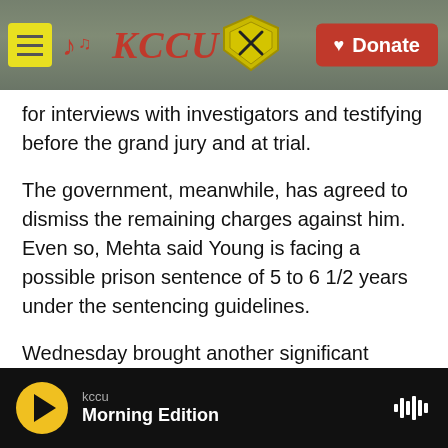KCCU — Donate
for interviews with investigators and testifying before the grand jury and at trial.
The government, meanwhile, has agreed to dismiss the remaining charges against him. Even so, Mehta said Young is facing a possible prison sentence of 5 to 6 1/2 years under the sentencing guidelines.
Wednesday brought another significant development in the Capitol investigation.
Anna Morgan-Lloyd, a 49-year-old from Indiana
kccu — Morning Edition